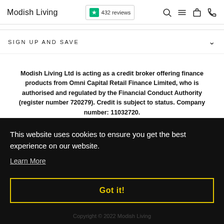Modish Living | ★ 432 reviews
SIGN UP AND SAVE
Modish Living Ltd is acting as a credit broker offering finance products from Omni Capital Retail Finance Limited, who is authorised and regulated by the Financial Conduct Authority (register number 720279). Credit is subject to status. Company number: 11032720.
This website uses cookies to ensure you get the best experience on our website.
Learn More
Got it!
Copyright © 2022 Modish Living